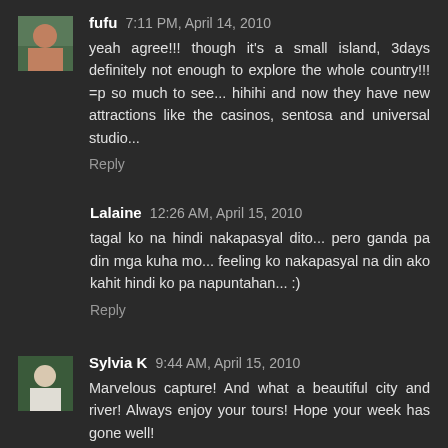fufu 7:11 PM, April 14, 2010
yeah agree!!! though it's a small island, 3days definitely not enough to explore the whole country!!! =p so much to see... hihihi and now they have new attractions like the casinos, sentosa and universal studio...
Reply
Lalaine 12:26 AM, April 15, 2010
tagal ko na hindi nakapasyal dito... pero ganda pa din mga kuha mo... feeling ko nakapasyal na din ako kahit hindi ko pa napuntahan... :)
Reply
Sylvia K 9:44 AM, April 15, 2010
Marvelous capture! And what a beautiful city and river! Always enjoy your tours! Hope your week has gone well!